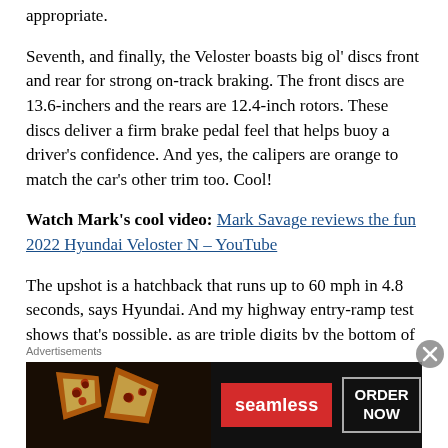appropriate.
Seventh, and finally, the Veloster boasts big ol' discs front and rear for strong on-track braking. The front discs are 13.6-inchers and the rears are 12.4-inch rotors. These discs deliver a firm brake pedal feel that helps buoy a driver's confidence. And yes, the calipers are orange to match the car's other trim too. Cool!
Watch Mark's cool video: Mark Savage reviews the fun 2022 Hyundai Veloster N – YouTube
The upshot is a hatchback that runs up to 60 mph in 4.8 seconds, says Hyundai. And my highway entry-ramp test shows that's possible, as are triple digits by the bottom of the
[Figure (photo): Seamless food delivery advertisement showing pizza slices on dark background with red Seamless logo button and ORDER NOW button]